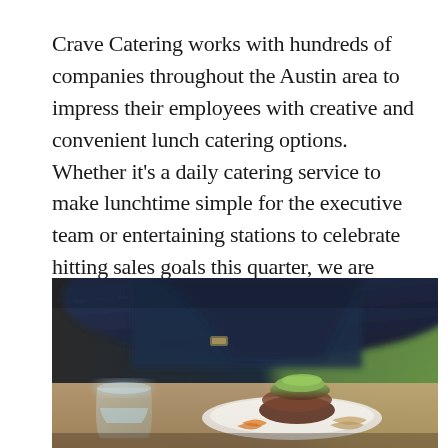Crave Catering works with hundreds of companies throughout the Austin area to impress their employees with creative and convenient lunch catering options. Whether it’s a daily catering service to make lunchtime simple for the executive team or entertaining stations to celebrate hitting sales goals this quarter, we are pros in creative business lunch options.
[Figure (photo): Close-up photo of a formal business lunch setting: a person in a dark navy blazer with a watch reaching toward the table, a clear glass of water on the left, and a plate of food including what appears to be a stuffed or topped burger/meat dish with garnish in the foreground. Blurred green background.]